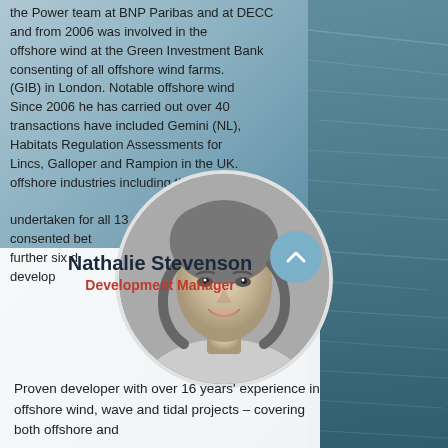the Power team at BNP Paribas and at DECC and from 2006 was involved in the offshore wind at the Green Investment Bank (GIB) in London. Notable offshore wind consenting of all offshore wind farms. Since 2006 he has carried out over 40 transactions have included Gemini (NL), Habitats Regulation Assessments for Lincs, Galloper and Rampion in the UK. offshore industries including those undertaken for all 13 offshore wind farms consented between 2009 and a further six develop...
[Figure (photo): Circular black and white portrait photo of Nathalie Stevenson, a woman with curly hair, smiling]
Nathalie Stevenson
Development Manager
Proven developer with over 16 years' experience in offshore wind, wave and tidal projects – covering both offshore and